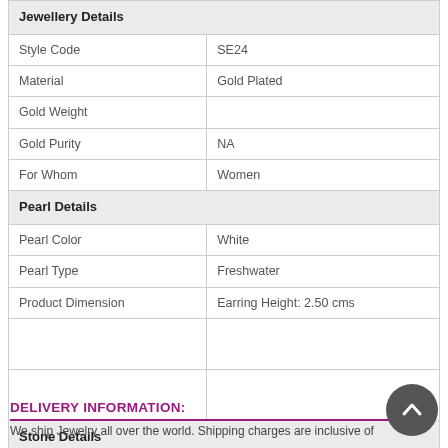|  |  |
| --- | --- |
| Jewellery Details |  |
| Style Code | SE24 |
| Material | Gold Plated |
| Gold Weight |  |
| Gold Purity | NA |
| For Whom | Women |
| Pearl Details |  |
| Pearl Color | White |
| Pearl Type | Freshwater |
| Product Dimension | Earring Height: 2.50 cms |
|  |  |
|  |  |
| Stone Details |  |
| Stone Type | Pearl |
| No of Pcs |  |
| Weight |  |
| Color |  |
|  |  |
DELIVERY INFORMATION:
We ship Jewelry all over the world. Shipping charges are inclusive of